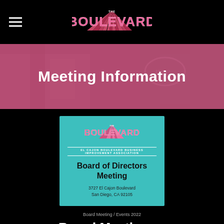[Figure (logo): The Boulevard logo — pink art-deco style lettering with rays, on black background. Hamburger menu icon on the left.]
[Figure (photo): Hero banner with pink-tinted photo of a building facade, overlaid with white text 'Meeting Information']
Meeting Information
[Figure (infographic): Teal card showing The Boulevard logo, 'EL CAJON BOULEVARD BUSINESS IMPROVEMENT ASSOCIATION', 'Board of Directors Meeting', '3727 El Cajon Boulevard, San Diego, CA 92105']
Board Meeting / Events 2022
Board Meeting —